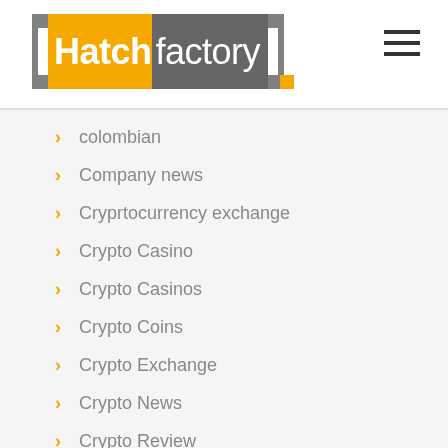Hatchfactory
colombian
Company news
Cryprtocurrency exchange
Crypto Casino
Crypto Casinos
Crypto Coins
Crypto Exchange
Crypto News
Crypto Review
Crypto Trading